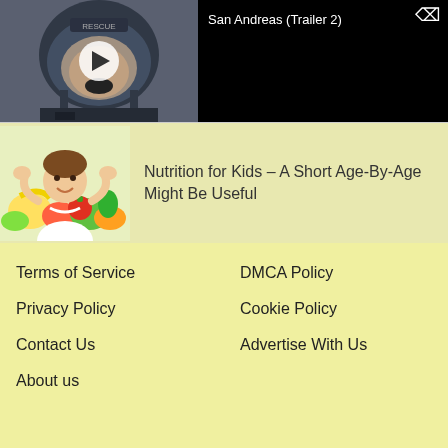[Figure (screenshot): Video thumbnail showing a firefighter/rescue worker in helmet, with a play button overlay]
San Andreas (Trailer 2)
[Figure (photo): Photo of a young girl flexing her muscles next to colorful fruits and vegetables]
Nutrition for Kids – A Short Age-By-Age Might Be Useful
Terms of Service
DMCA Policy
Privacy Policy
Cookie Policy
Contact Us
Advertise With Us
About us